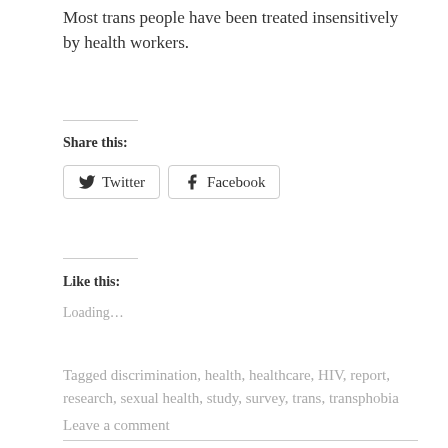Most trans people have been treated insensitively by health workers.
Share this:
[Figure (other): Twitter and Facebook share buttons]
Like this:
Loading...
Tagged discrimination, health, healthcare, HIV, report, research, sexual health, study, survey, trans, transphobia
Leave a comment